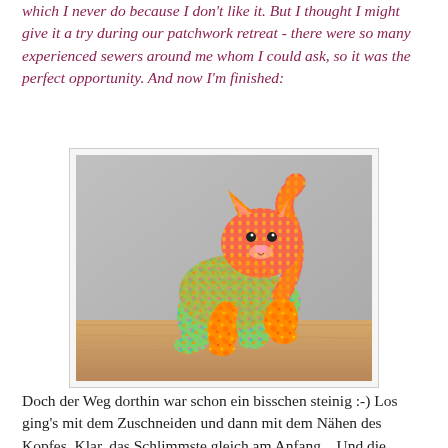which I never do because I don't like it. But I thought I might give it a try during our patchwork retreat - there were so many experienced sewers around me whom I could ask, so it was the perfect opportunity. And now I'm finished:
[Figure (photo): A colorful stuffed toy cat made from patchwork fabric in bright orange, green, pink, and multicolor patterns, standing on a wooden surface against a gray background.]
Doch der Weg dorthin war schon ein bisschen steinig :-) Los ging's mit dem Zuschneiden und dann mit dem Nähen des Kopfes. Klar, das Schlimmste gleich am Anfang... Und die